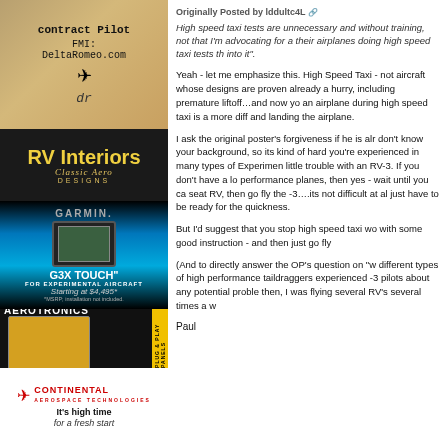[Figure (photo): Advertisement for Contract Pilot with guitar pick and airplane graphic, FMI: DeltaRomeo.com]
[Figure (photo): Advertisement for RV Interiors by Classic Aero Designs, dark background with gold text]
[Figure (photo): Garmin G3X Touch advertisement for experimental aircraft, starting at $4,495]
[Figure (photo): Aerotronics Plug and Play Panels advertisement]
[Figure (photo): Continental Technologies advertisement - It's high time for a fresh start]
Originally Posted by lddultc4L
High speed taxi tests are unnecessary and without training, not that I'm advocating for a their airplanes doing high speed taxi tests th into it".
Yeah - let me emphasize this. High Speed Taxi - not aircraft whose designs are proven already a hurry, including premature liftoff…and now yo an airplane during high speed taxi is a more diff and landing the airplane.
I ask the original poster's forgiveness if he is alr don't know your background, so its kind of hard you're experienced in many types of Experimen little trouble with an RV-3. If you don't have a lo performance planes, then yes - wait until you ca seat RV, then go fly the -3….its not difficult at al just have to be ready for the quickness.
But I'd suggest that you stop high speed taxi wo with some good instruction - and then just go fly
(And to directly answer the OP's question on "w different types of high performance taildraggers experienced -3 pilots about any potential proble then, I was flying several RV's several times a w
Paul